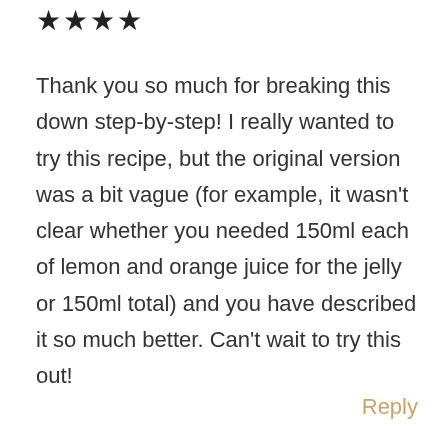[Figure (other): Four black star rating icons]
Thank you so much for breaking this down step-by-step! I really wanted to try this recipe, but the original version was a bit vague (for example, it wasn't clear whether you needed 150ml each of lemon and orange juice for the jelly or 150ml total) and you have described it so much better. Can't wait to try this out!
Reply